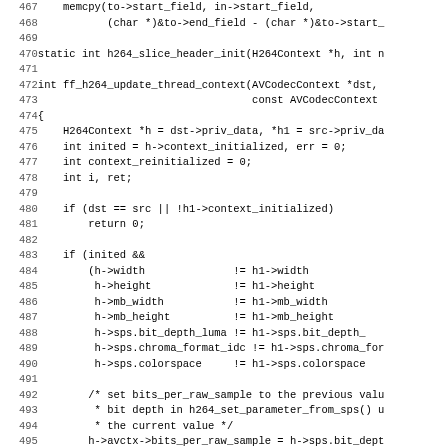Source code listing lines 467-499, showing h264_slice_header_init and ff_h264_update_thread_context functions in C